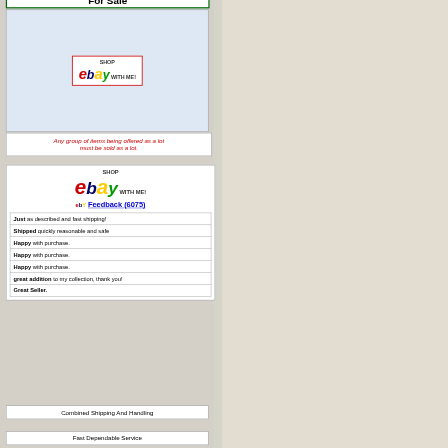For Sale
[Figure (logo): eBay 'Shop with Me!' logo in a light blue advertisement box]
Any group of items being offered as a lot must be sold as a lot.
[Figure (logo): eBay 'Shop with Me!' large logo]
Feedback (6075)
Just as described and fast shipping!
Shipped quickly reasonable and safe
Happy with purchase.
Happy with purchase.
Happy with purchase.
great addition to my collection, thank you!
Great Seller.
Combined Shipping And Handling
Fast Dependable Service
You don't have to be an eight year old to enjoy having a childhood treasure.
CO-STARRING E